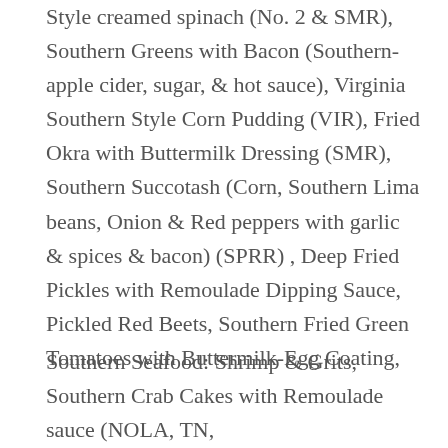Style creamed spinach (No. 2 & SMR), Southern Greens with Bacon (Southern- apple cider, sugar, & hot sauce), Virginia Southern Style Corn Pudding (VIR), Fried Okra with Buttermilk Dressing (SMR), Southern Succotash (Corn, Southern Lima beans, Onion & Red peppers with garlic & spices & bacon) (SPRR) , Deep Fried Pickles with Remoulade Dipping Sauce, Pickled Red Beets, Southern Fried Green Tomatoes with Buttermilk-Egg Coating,
Southern Seafood: Shrimp & Grits, Southern Crab Cakes with Remoulade sauce (NOLA, TN,